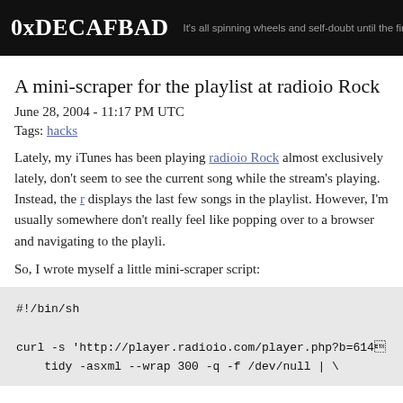0xDECAFBAD — It's all spinning wheels and self-doubt until the first pot of c
A mini-scraper for the playlist at radioio Rock
June 28, 2004 - 11:17 PM UTC
Tags: hacks
Lately, my iTunes has been playing radioio Rock almost exclusively lately, don't seem to see the current song while the stream's playing. Instead, the r displays the last few songs in the playlist. However, I'm usually somewhere don't really feel like popping over to a browser and navigating to the playli.
So, I wrote myself a little mini-scraper script:
#!/bin/sh

curl -s 'http://player.radioio.com/player.php?b=614&#3
    tidy -asxml --wrap 300 -q -f /dev/null | \